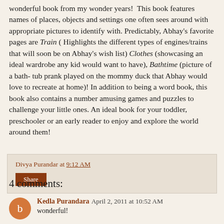wonderful book from my wonder years! This book features names of places, objects and settings one often sees around with appropriate pictures to identify with. Predictably, Abhay's favorite pages are Train ( Highlights the different types of engines/trains that will soon be on Abhay's wish list) Clothes (showcasing an ideal wardrobe any kid would want to have), Bathtime (picture of a bath- tub prank played on the mommy duck that Abhay would love to recreate at home)! In addition to being a word book, this book also contains a number amusing games and puzzles to challenge your little ones. An ideal book for your toddler, preschooler or an early reader to enjoy and explore the world around them!
Divya Purandar at 9:12 AM
Share
4 comments:
Kedla Purandara April 2, 2011 at 10:52 AM
wonderful!